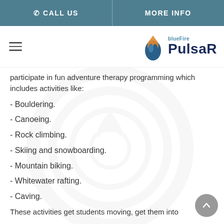CALL US  MORE INFO
[Figure (logo): blueFire PulsaR logo with flame icon]
participate in fun adventure therapy programming which includes activities like:
- Bouldering.
- Canoeing.
- Rock climbing.
- Skiing and snowboarding.
- Mountain biking.
- Whitewater rafting.
- Caving.
These activities get students moving, get them into